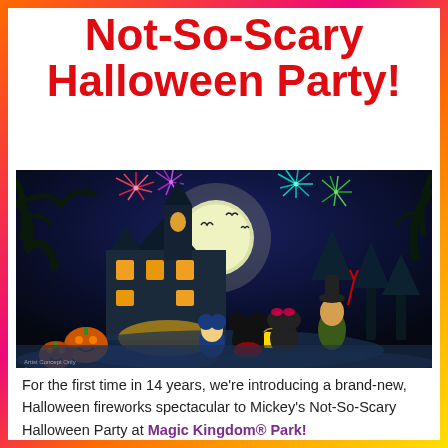Show for Mickey's Not-So-Scary Halloween Party!
[Figure (illustration): Disney Halloween concept art showing Mickey Mouse, Minnie Mouse, Donald Duck, and Goofy in Halloween costumes watching fireworks over a haunted mansion at night with a full moon, bats, and jack-o-lanterns. Small text reads 'Artist Concept Only ©Disney'.]
For the first time in 14 years, we're introducing a brand-new, Halloween fireworks spectacular to Mickey's Not-So-Scary Halloween Party at Magic Kingdom® Park!